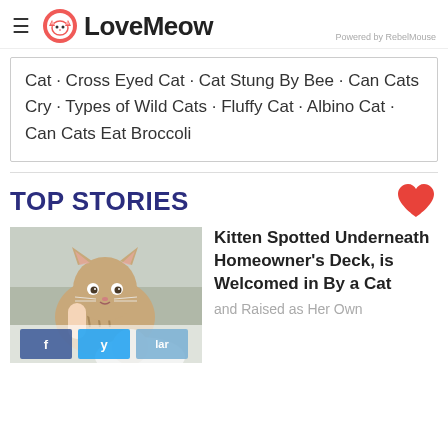≡ LoveMeow  Powered by RebelMouse
Cat · Cross Eyed Cat · Cat Stung By Bee · Can Cats Cry · Types of Wild Cats · Fluffy Cat · Albino Cat · Can Cats Eat Broccoli
TOP STORIES
[Figure (photo): A small tabby kitten being touched by a human finger, looking at camera]
Kitten Spotted Underneath Homeowner's Deck, is Welcomed in By a Cat and Raised as Her Own